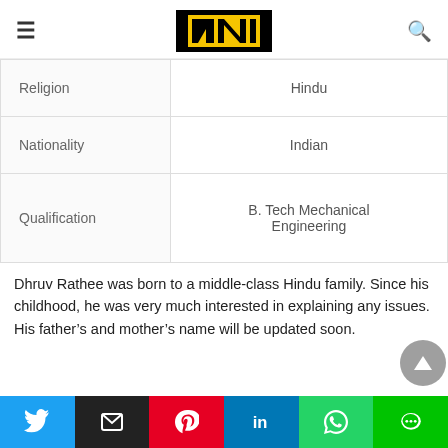≡  [N logo]  🔍
|  |  |
| --- | --- |
| Religion | Hindu |
| Nationality | Indian |
| Qualification | B. Tech Mechanical Engineering |
Dhruv Rathee was born to a middle-class Hindu family. Since his childhood, he was very much interested in explaining any issues. His father's and mother's name will be updated soon.
Twitter | Email | Pinterest | LinkedIn | WhatsApp | Line